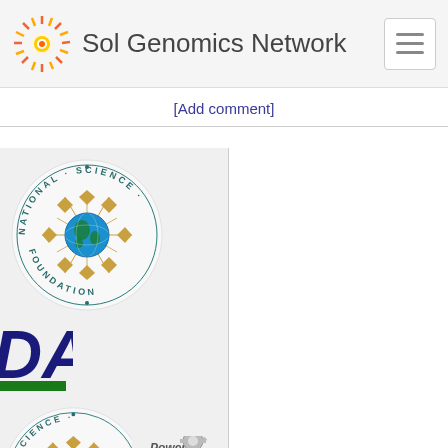Sol Genomics Network
[Add comment]
[Figure (logo): National Science Foundation circular logo with globe and lattice pattern]
[Figure (logo): USDA logo - dark blue letters DA cropped, green bar below]
[Figure (logo): National Science Foundation partial logo bottom]
[Figure (logo): Powered by GMOD logo with gear icons]
[Figure (logo): USDA logo bottom cropped]